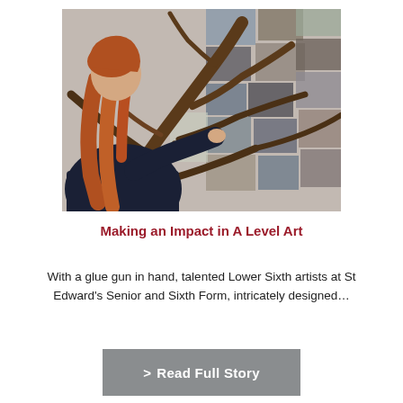[Figure (photo): A student with long red hair, wearing a dark navy jumper, works on a large sculptural piece made from driftwood branches, using a glue gun. Behind her is a wall covered with photographs and artwork pinned up as references in an art studio.]
Making an Impact in A Level Art
With a glue gun in hand, talented Lower Sixth artists at St Edward's Senior and Sixth Form, intricately designed...
> Read Full Story